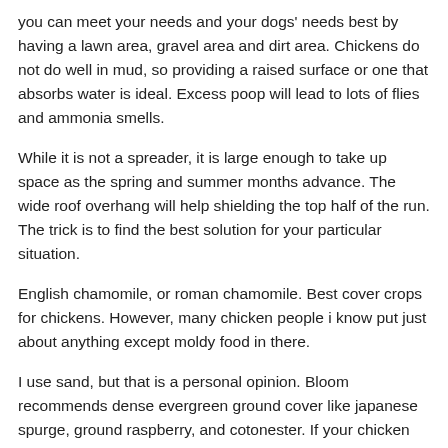you can meet your needs and your dogs' needs best by having a lawn area, gravel area and dirt area. Chickens do not do well in mud, so providing a raised surface or one that absorbs water is ideal. Excess poop will lead to lots of flies and ammonia smells.
While it is not a spreader, it is large enough to take up space as the spring and summer months advance. The wide roof overhang will help shielding the top half of the run. The trick is to find the best solution for your particular situation.
English chamomile, or roman chamomile. Best cover crops for chickens. However, many chicken people i know put just about anything except moldy food in there.
I use sand, but that is a personal opinion. Bloom recommends dense evergreen ground cover like japanese spurge, ground raspberry, and cotonester. If your chicken run hasn't been completed i'd suggest trenching a foot into the ground around the run and and then burying your fence about a foot down into your soil rather than covering the ground with wire.
Though if you have a chicken run that remains in one position or you